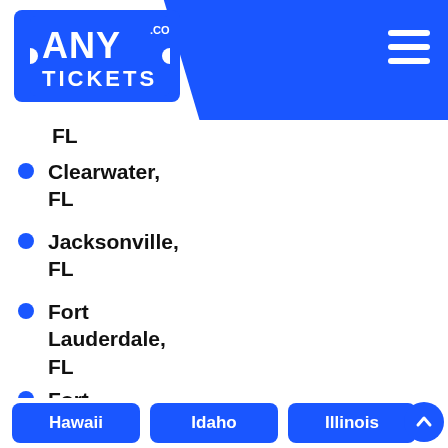AnyTickets.com
FL
Clearwater, FL
Jacksonville, FL
Fort Lauderdale, FL
Fort Myers, FL
Sarasota, FL
Hawaii
Idaho
Illinois